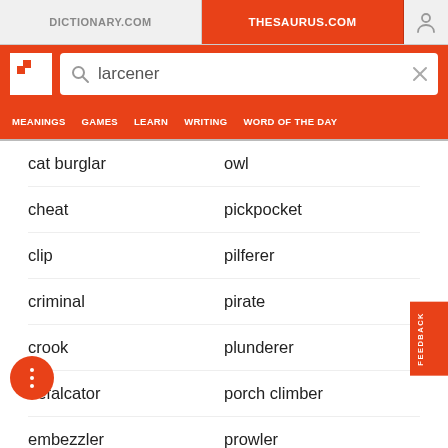DICTIONARY.COM | THESAURUS.COM
[Figure (screenshot): Search bar with magnifying glass icon and text 'larcener', with X clear button, on red background with Thesaurus.com logo]
MEANINGS  GAMES  LEARN  WRITING  WORD OF THE DAY
cat burglar
owl
cheat
pickpocket
clip
pilferer
criminal
pirate
crook
plunderer
defalcator
porch climber
embezzler
prowler
heister
robber